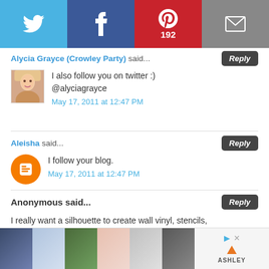[Figure (infographic): Social share buttons bar: Twitter (blue), Facebook (dark blue), Pinterest (red, showing 192), Email (gray)]
Alycia Grayce (Crowley Party) said...
I also follow you on twitter :)
@alyciagrayce
May 17, 2011 at 12:47 PM
Aleisha said...
I follow your blog.
May 17, 2011 at 12:47 PM
Anonymous said...
I really want a silhouette to create wall vinyl, stencils, and iron ons!
[Figure (infographic): Advertisement bar with 6 product thumbnail images and Ashley furniture brand logo]